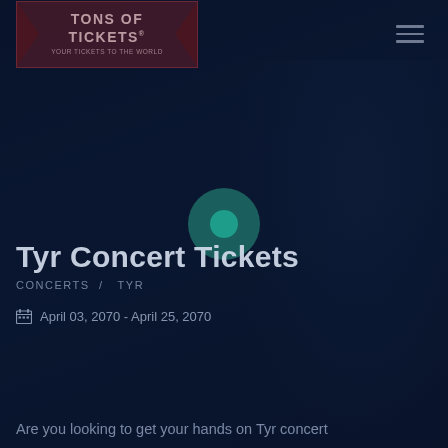[Figure (logo): Tons of Tickets logo in dark red/maroon angular banner shape with white text]
Tyr Concert Tickets
CONCERTS /  TYR
April 03, 2070 - April 25, 2070
Are you looking to get your hands on Tyr concert